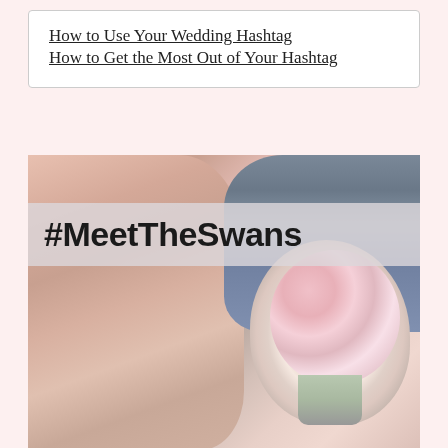How to Use Your Wedding Hashtag
How to Get the Most Out of Your Hashtag
[Figure (photo): Wedding photo showing a bride from behind holding a pink and white flower bouquet, with a groom in a dark suit visible in the background. A semi-transparent banner overlaid on the image reads '#MeetTheSwans' in bold black text.]